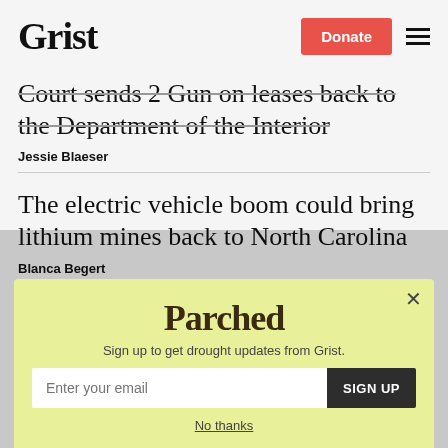Grist | Donate | Menu
Court sends 2 Gun on leases back to the Department of the Interior
Jessie Blaeser
The electric vehicle boom could bring lithium mines back to North Carolina
Blanca Begert
[Figure (other): Parched newsletter signup modal with yellow-green background. Shows 'Parched' logo, tagline 'Sign up to get drought updates from Grist.', email input field, SIGN UP button, and 'No thanks' link.]